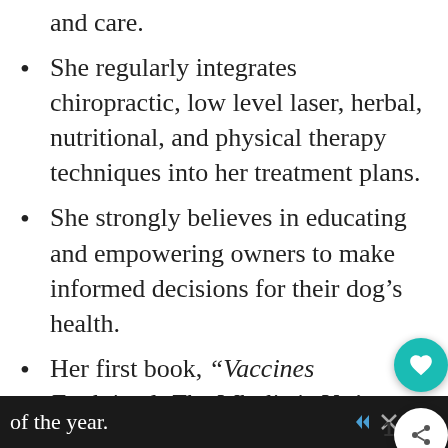and care.
She regularly integrates chiropractic, low level laser, herbal, nutritional, and physical therapy techniques into her treatment plans.
She strongly believes in educating and empowering owners to make informed decisions for their dog’s health.
Her first book, “Vaccines Explained: The Wholistic Vet’s Guide to Vaccinating Your Dog” is currently available on Amazon, and her second book, The Healthy Dog Handbook, will be released near the end of the year.
Her newest project, The Healthy Dog...